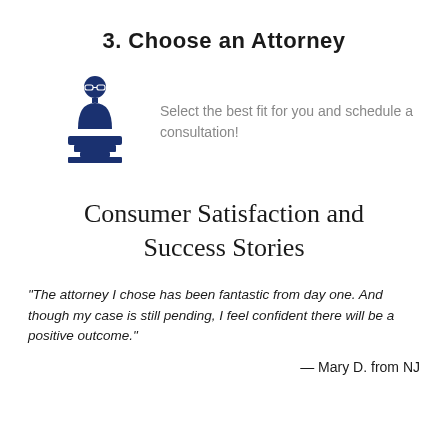3. Choose an Attorney
[Figure (illustration): Icon of an attorney/judge figure standing behind a podium/bench, rendered in dark navy blue]
Select the best fit for you and schedule a consultation!
Consumer Satisfaction and Success Stories
"The attorney I chose has been fantastic from day one. And though my case is still pending, I feel confident there will be a positive outcome."
— Mary D. from NJ